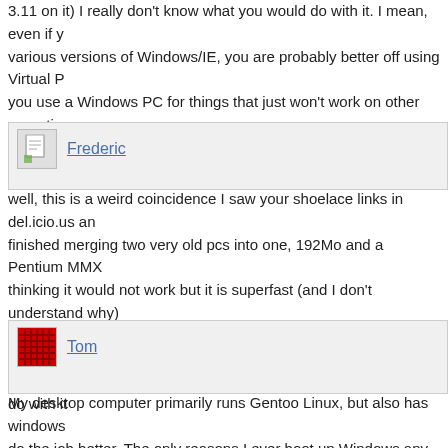3.11 on it) I really don't know what you would do with it. I mean, even if you various versions of Windows/IE, you are probably better off using Virtual P you use a Windows PC for things that just won't work on other operating sy very important to me at home, and seem to be on a list that is shrinking as t
[Figure (other): User avatar icon for Frederic - small document/image placeholder icon]
Frederic
well, this is a weird coincidence I saw your shoelace links in del.icio.us and finished merging two very old pcs into one, 192Mo and a Pentium MMX a thinking it would not work but it is superfast (and I don't understand why) a desktop and it works just fine so, I have this perfect box which I can contro screen it's out there in the living room and I don't know what to do with it a
[Figure (other): User avatar icon for Tom - red tartan/plaid pattern image]
Tom
My desktop computer primarily runs Gentoo Linux, but also has windows do the job better. The only reasons I ever boot up Windows any more are w (.NET is the platform we use there) or to play Windows-only games every Athlon64 3000+, the time to compile applications is well within my toleran